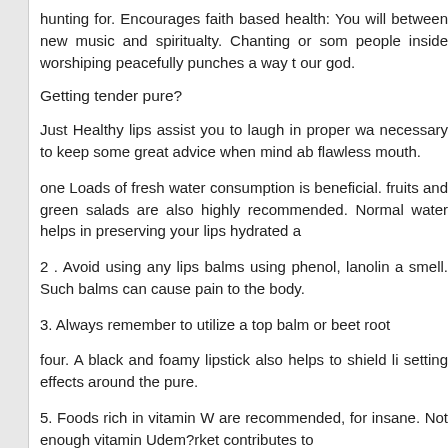hunting for. Encourages faith based health: You will between new music and spiritualty. Chanting or som people inside worshiping peacefully punches a way t our god.
Getting tender pure?
Just Healthy lips assist you to laugh in proper wa necessary to keep some great advice when mind ab flawless mouth.
one Loads of fresh water consumption is beneficial. fruits and green salads are also highly recommended. Normal water helps in preserving your lips hydrated a
2 . Avoid using any lips balms using phenol, lanolin a smell. Such balms can cause pain to the body.
3. Always remember to utilize a top balm or beet root
four. A black and foamy lipstick also helps to shield li setting effects around the pure.
5. Foods rich in vitamin W are recommended, for insane. Not enough vitamin Udem?rket contributes to
six. You may grind went up petals and implement o mouth.